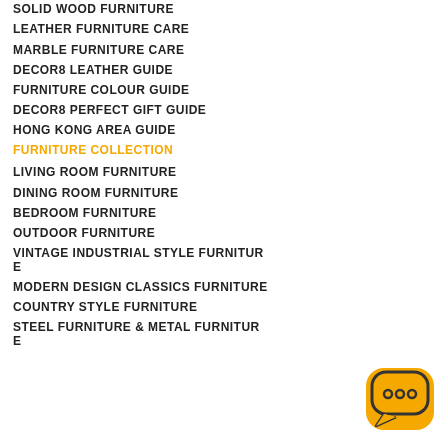SOLID WOOD FURNITURE
LEATHER FURNITURE CARE
MARBLE FURNITURE CARE
DECOR8 LEATHER GUIDE
FURNITURE COLOUR GUIDE
DECOR8 PERFECT GIFT GUIDE
HONG KONG AREA GUIDE
FURNITURE COLLECTION
LIVING ROOM FURNITURE
DINING ROOM FURNITURE
BEDROOM FURNITURE
OUTDOOR FURNITURE
VINTAGE INDUSTRIAL STYLE FURNITURE
MODERN DESIGN CLASSICS FURNITURE
COUNTRY STYLE FURNITURE
STEEL FURNITURE & METAL FURNITURE
[Figure (illustration): Orange/yellow rounded square chat bubble icon with three dots]